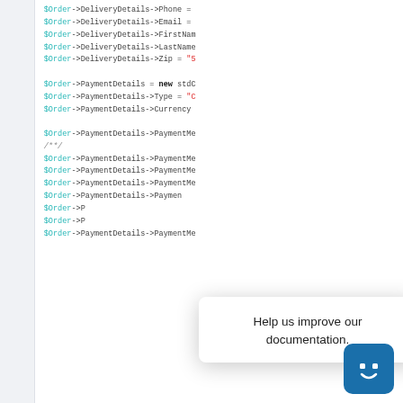[Figure (screenshot): PHP code editor screenshot showing object property assignments for $Order->DeliveryDetails and $Order->PaymentDetails with teal/cyan variable names and red string literals. A popup overlay reads 'Help us improve our documentation.' with an X close button and a teal chatbot icon in the bottom right.]